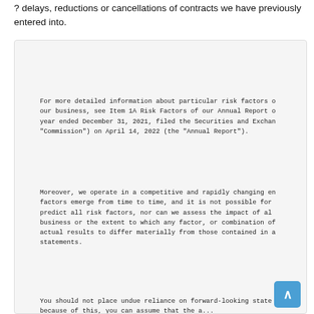? delays, reductions or cancellations of contracts we have previously entered into.
For more detailed information about particular risk factors of our business, see Item 1A Risk Factors of our Annual Report for the year ended December 31, 2021, filed the Securities and Exchange "Commission") on April 14, 2022 (the "Annual Report").
Moreover, we operate in a competitive and rapidly changing environment, new factors emerge from time to time, and it is not possible for management to predict all risk factors, nor can we assess the impact of all risk factors on our business or the extent to which any factor, or combination of factors, may cause actual results to differ materially from those contained in any forward-looking statements.
You should not place undue reliance on forward-looking statements because of this, you can assume that the a...